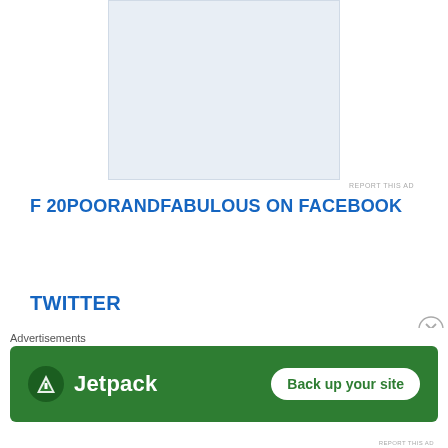[Figure (other): Advertisement placeholder banner, light blue/grey rectangle]
REPORT THIS AD
F 20POORANDFABULOUS ON FACEBOOK
TWITTER
Abortion forever crop top by me ❤ twitter.com/CallaHummel/st... 1 week ago
RT @kmcdonovgh: Your little tips and tricks will not save you! curbed.com/2022/07/airlin... 1 month ago
RT @El_Ka...
Advertisements
[Figure (other): Jetpack advertisement banner with green background showing Jetpack logo and 'Back up your site' button]